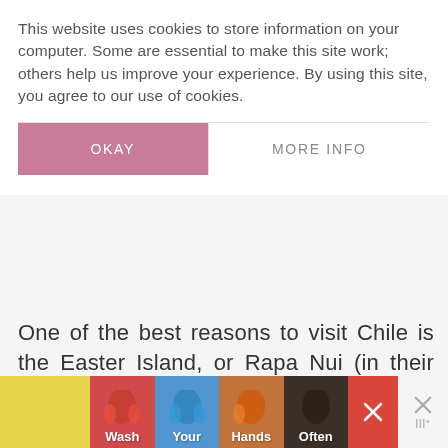This website uses cookies to store information on your computer. Some are essential to make this site work; others help us improve your experience. By using this site, you agree to our use of cookies.
OKAY
MORE INFO
[Figure (screenshot): Gray area representing a partially loaded webpage content area with a Weatherite logo watermark in the bottom right]
One of the best reasons to visit Chile is the Easter Island, or Rapa Nui (in their native language).
[Figure (infographic): Advertisement banner showing 'Wash Your Hands Often' with colorful hand illustrations on colored backgrounds, with a close button]